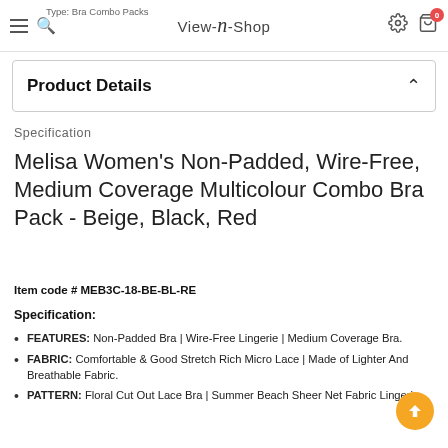Type: Bra Combo Packs | View-N-Shop
Product Details
Specification
Melisa Women's Non-Padded, Wire-Free, Medium Coverage Multicolour Combo Bra Pack - Beige, Black, Red
Item code # MEB3C-18-BE-BL-RE
Specification:
FEATURES: Non-Padded Bra | Wire-Free Lingerie | Medium Coverage Bra.
FABRIC: Comfortable & Good Stretch Rich Micro Lace | Made of Lighter And Breathable Fabric.
PATTERN: Floral Cut Out Lace Bra | Summer Beach Sheer Net Fabric Lingerie.